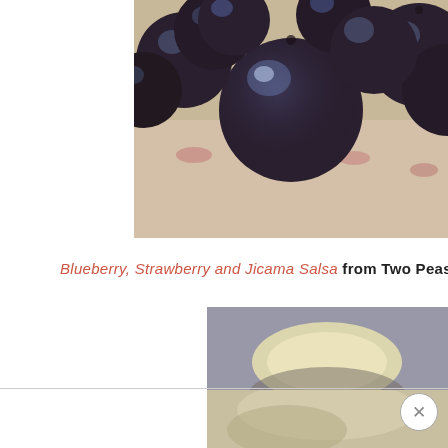[Figure (photo): Close-up photo of dark blueberries on a textured background with red specks, partially cut off on the left and right edges]
Blueberry, Strawberry and Jicama Salsa from Two Peas a
[Figure (photo): Partially visible food photo showing a pale yellow creamy item on a blurred gray and beige background]